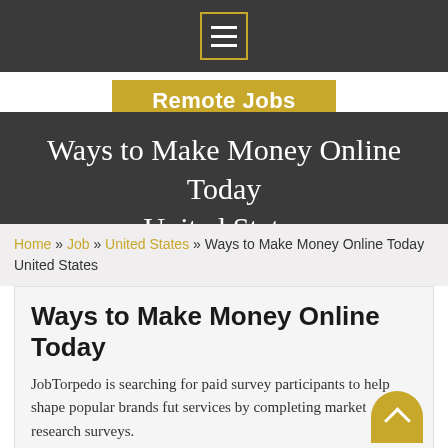Remote Jobs
Ways to Make Money Online Today United States
Home » Job » United States » Ways to Make Money Online Today United States
Ways to Make Money Online Today
JobTorpedo is searching for paid survey participants to help shape popular brands fut services by completing market research surveys.